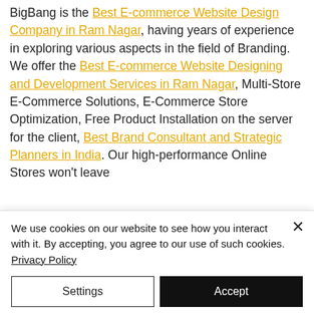BigBang is the Best E-commerce Website Design Company in Ram Nagar, having years of experience in exploring various aspects in the field of Branding. We offer the Best E-commerce Website Designing and Development Services in Ram Nagar, Multi-Store E-Commerce Solutions, E-Commerce Store Optimization, Free Product Installation on the server for the client, Best Brand Consultant and Strategic Planners in India. Our high-performance Online Stores won't leave
We use cookies on our website to see how you interact with it. By accepting, you agree to our use of such cookies. Privacy Policy